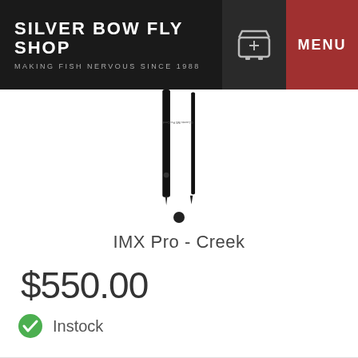SILVER BOW FLY SHOP — MAKING FISH NERVOUS SINCE 1988
[Figure (photo): Two black fly fishing rod sections shown vertically against white background, with a circular dot indicator below them.]
IMX Pro - Creek
$550.00
Instock